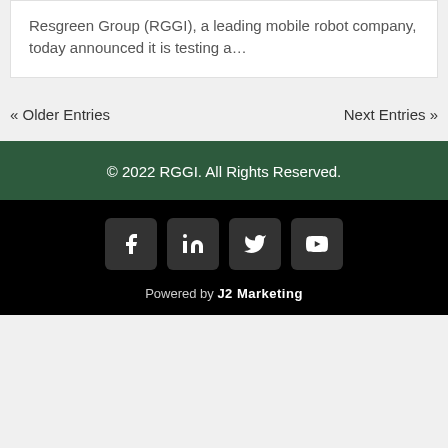Resgreen Group (RGGI), a leading mobile robot company, today announced it is testing a...
« Older Entries    Next Entries »
© 2022 RGGI. All Rights Reserved.
[Figure (other): Social media icons: Facebook, LinkedIn, Twitter, YouTube]
Powered by J2 Marketing